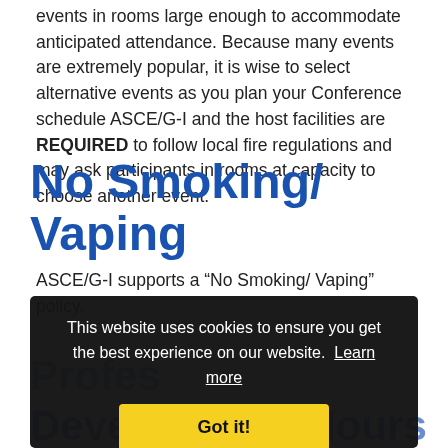events in rooms large enough to accommodate anticipated attendance. Because many events are extremely popular, it is wise to select alternative events as you plan your Conference schedule ASCE/G-I and the host facilities are REQUIRED to follow local fire regulations and may ask participants in rooms at capacity to choose another event.
No Smoking/ Vaping
ASCE/G-I supports a “No Smoking/ Vaping” policy.
[Figure (screenshot): Cookie consent overlay banner on dark background with text 'This website uses cookies to ensure you get the best experience on our website. Learn more' and a yellow 'Got it!' button. Behind the overlay, partially visible blue bold headings for 'Professional Development Hours'.]